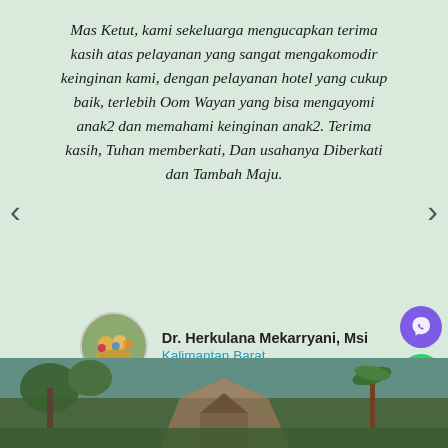Mas Ketut, kami sekeluarga mengucapkan terima kasih atas pelayanan yang sangat mengakomodir keinginan kami, dengan pelayanan hotel yang cukup baik, terlebih Oom Wayan yang bisa mengayomi anak2 dan memahami keinginan anak2. Terima kasih, Tuhan memberkati, Dan usahanya Diberkati dan Tambah Maju.
[Figure (photo): Circular avatar photo of Dr. Herkulana Mekarryani, showing a group of people outdoors with colorful clothing and greenery in background]
Dr. Herkulana Mekarryani, Msi
Kalimantan Barat
[Figure (photo): Bottom portion of page showing a partially visible outdoor photo with trees, palms, and what appears to be a traditional structure]